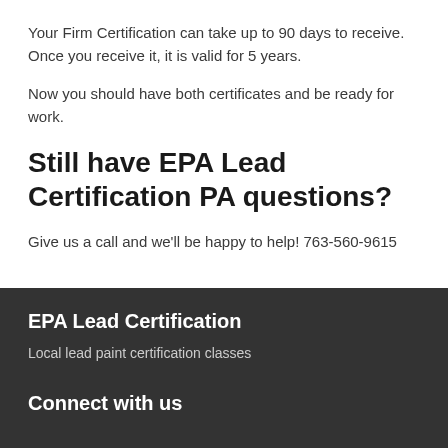Your Firm Certification can take up to 90 days to receive. Once you receive it, it is valid for 5 years.
Now you should have both certificates and be ready for work.
Still have EPA Lead Certification PA questions?
Give us a call and we'll be happy to help!  763-560-9615
EPA Lead Certification
Local lead paint certification classes
Connect with us